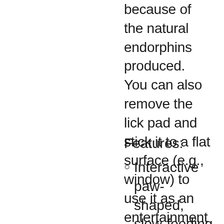because of the natural endorphins produced. You can also remove the lick pad and stick it to a flat surface (e.g., window) to use it as an entertainment treat toy for your pet!
Features:
Interactive paw-shaped, slow-feeding pet food bowl with separate sections & textured